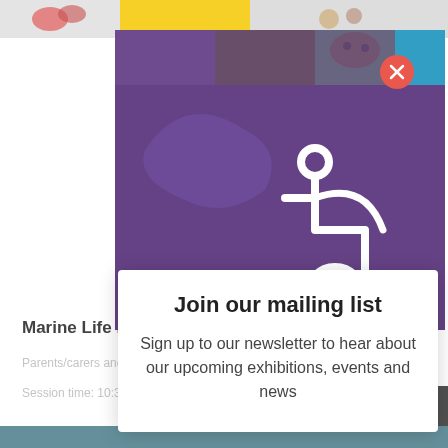[Figure (screenshot): Purple museum/event banner with wheelchair accessibility icon, marine life cartoon images in background, and a close (X) button in red circle]
Marine Life Making Family Workshop
Parents/carers and children ages 5-10
Session time: 10:30-11:15
Click here to book this free session.
Join our mailing list
Sign up to our newsletter to hear about our upcoming exhibitions, events and news